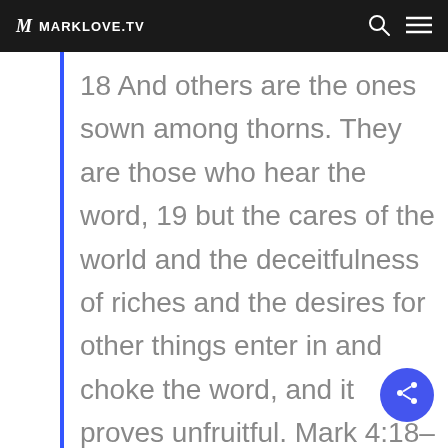MARKLOVE.TV
18 And others are the ones sown among thorns. They are those who hear the word, 19 but the cares of the world and the deceitfulness of riches and the desires for other things enter in and choke the word, and it proves unfruitful. Mark 4:18–19